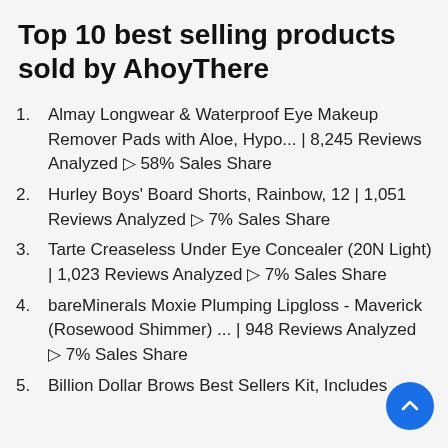Top 10 best selling products sold by AhoyThere
Almay Longwear & Waterproof Eye Makeup Remover Pads with Aloe, Hypo... | 8,245 Reviews Analyzed ▷ 58% Sales Share
Hurley Boys' Board Shorts, Rainbow, 12 | 1,051 Reviews Analyzed ▷ 7% Sales Share
Tarte Creaseless Under Eye Concealer (20N Light) | 1,023 Reviews Analyzed ▷ 7% Sales Share
bareMinerals Moxie Plumping Lipgloss - Maverick (Rosewood Shimmer) ... | 948 Reviews Analyzed ▷ 7% Sales Share
Billion Dollar Brows Best Sellers Kit, Includes